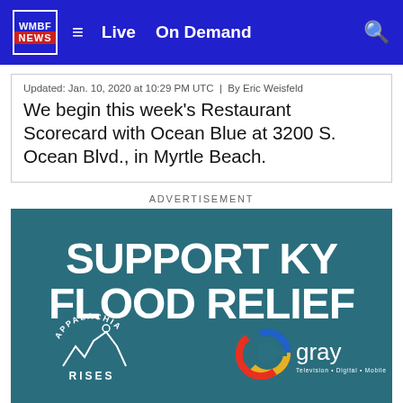WMBF NEWS | Live | On Demand
Updated: Jan. 10, 2020 at 10:29 PM UTC  |  By Eric Weisfeld
We begin this week's Restaurant Scorecard with Ocean Blue at 3200 S. Ocean Blvd., in Myrtle Beach.
ADVERTISEMENT
[Figure (infographic): Advertisement banner with teal/blue background showing text 'SUPPORT KY FLOOD RELIEF' in large white bold letters, with Appalachia Rises logo (mountain and figure graphic with circular text) on the left and Gray Television logo (colorful G icon with 'gray' text and tagline 'Television • Digital • Mobile') on the right.]